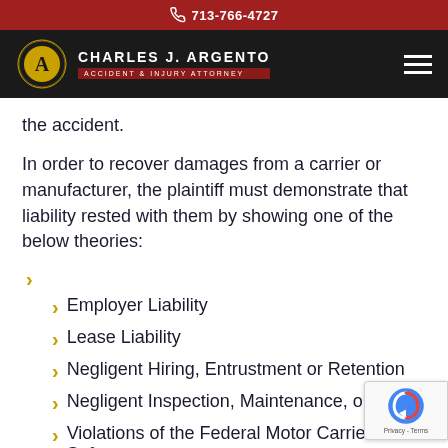713-766-4727
[Figure (logo): Charles J. Argento Accident & Injury Attorney logo with emblem on dark background and hamburger menu]
the accident.
In order to recover damages from a carrier or manufacturer, the plaintiff must demonstrate that liability rested with them by showing one of the below theories:
Employer Liability
Lease Liability
Negligent Hiring, Entrustment or Retention
Negligent Inspection, Maintenance, or Repair
Violations of the Federal Motor Carrier Safety